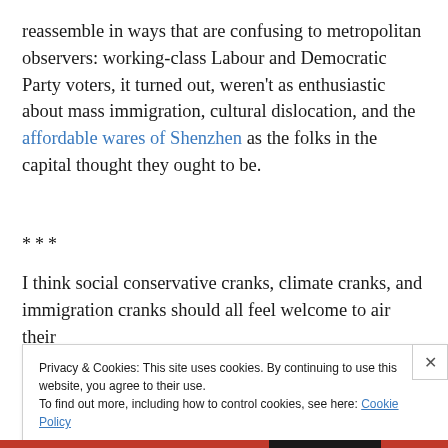reassemble in ways that are confusing to metropolitan observers: working-class Labour and Democratic Party voters, it turned out, weren't as enthusiastic about mass immigration, cultural dislocation, and the affordable wares of Shenzhen as the folks in the capital thought they ought to be.
***
I think social conservative cranks, climate cranks, and immigration cranks should all feel welcome to air their
Privacy & Cookies: This site uses cookies. By continuing to use this website, you agree to their use.
To find out more, including how to control cookies, see here: Cookie Policy